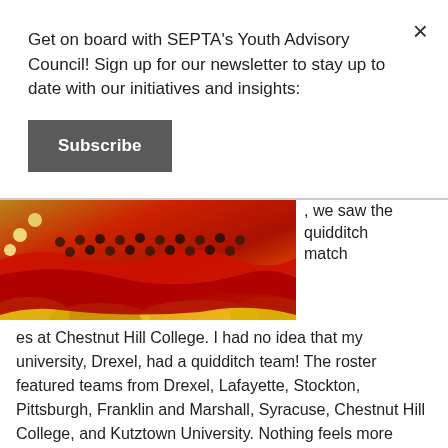Get on board with SEPTA's Youth Advisory Council! Sign up for our newsletter to stay up to date with our initiatives and insights:
Subscribe
[Figure (photo): Photo of a quidditch match setup showing red and yellow cloths/capes draped over a table with chocolate frogs or similar treats arranged in rows on top.]
, we saw the quidditch matches at Chestnut Hill College. I had no idea that my university, Drexel, had a quidditch team! The roster featured teams from Drexel, Lafayette, Stockton, Pittsburgh, Franklin and Marshall, Syracuse, Chestnut Hill College, and Kutztown University. Nothing feels more Harry Potter-esque than watching a match of